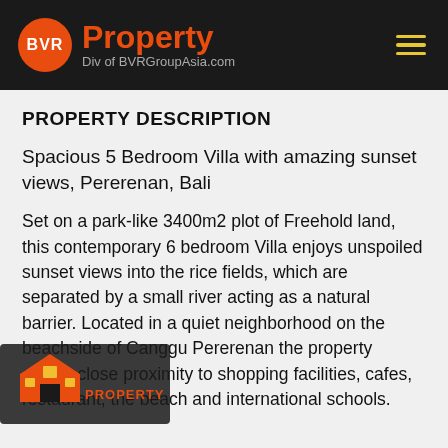BVR Property - Div of BVRGroupAsia.com
PROPERTY DESCRIPTION
Spacious 5 Bedroom Villa with amazing sunset views, Pererenan, Bali
Set on a park-like 3400m2 plot of Freehold land, this contemporary 6 bedroom Villa enjoys unspoiled sunset views into the rice fields, which are separated by a small river acting as a natural barrier. Located in a quiet neighborhood on the beachside of Canggu Pererenan the property enjoys close proximity to shopping facilities, cafes, restaurant, the beach and international schools.
[Figure (logo): BVR Property watermark logo with house icon and PROPERTY text]